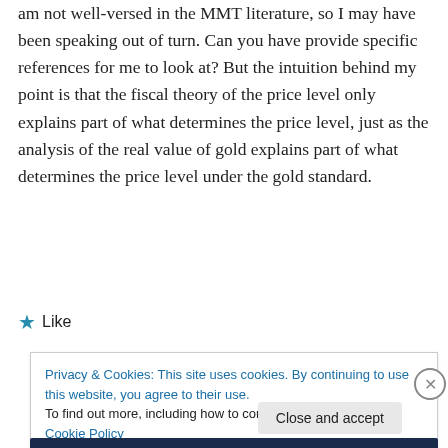am not well-versed in the MMT literature, so I may have been speaking out of turn. Can you have provide specific references for me to look at? But the intuition behind my point is that the fiscal theory of the price level only explains part of what determines the price level, just as the analysis of the real value of gold explains part of what determines the price level under the gold standard.
★ Like
Privacy & Cookies: This site uses cookies. By continuing to use this website, you agree to their use.
To find out more, including how to control cookies, see here: Cookie Policy
Close and accept